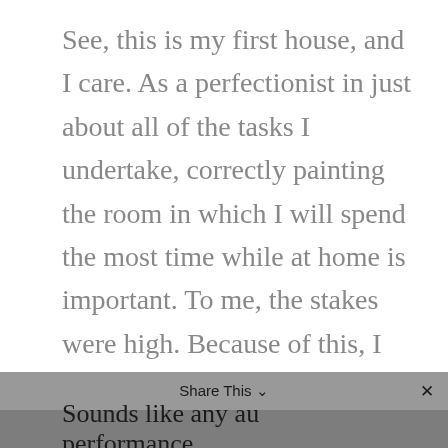See, this is my first house, and I care. As a perfectionist in just about all of the tasks I undertake, correctly painting the room in which I will spend the most time while at home is important. To me, the stakes were high. Because of this, I had been seriously clenching my jaw and had been holding tension throughout my body in an unconscious effort to control my motions and to do well.

High stakes and the desire to perform well:
Sounds like any au[Share This]performance ×